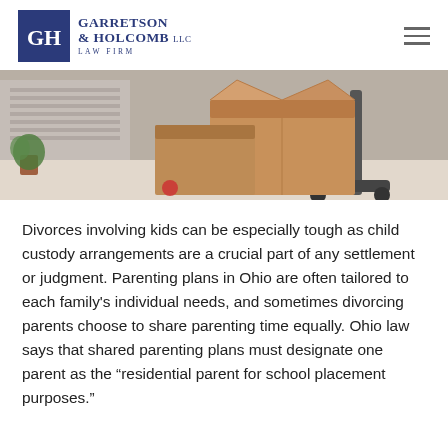Garretson & Holcomb LLC Law Firm
[Figure (photo): Photo of cardboard moving boxes stacked on a cart or dolly, suggesting a home move, with a blurred interior background.]
Divorces involving kids can be especially tough as child custody arrangements are a crucial part of any settlement or judgment. Parenting plans in Ohio are often tailored to each family’s individual needs, and sometimes divorcing parents choose to share parenting time equally. Ohio law says that shared parenting plans must designate one parent as the “residential parent for school placement purposes.”